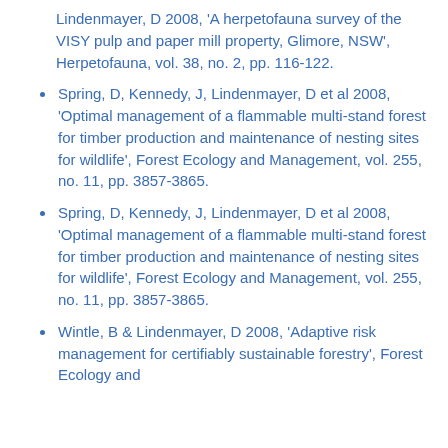Lindenmayer, D 2008, 'A herpetofauna survey of the VISY pulp and paper mill property, Glimore, NSW', Herpetofauna, vol. 38, no. 2, pp. 116-122.
Spring, D, Kennedy, J, Lindenmayer, D et al 2008, 'Optimal management of a flammable multi-stand forest for timber production and maintenance of nesting sites for wildlife', Forest Ecology and Management, vol. 255, no. 11, pp. 3857-3865.
Spring, D, Kennedy, J, Lindenmayer, D et al 2008, 'Optimal management of a flammable multi-stand forest for timber production and maintenance of nesting sites for wildlife', Forest Ecology and Management, vol. 255, no. 11, pp. 3857-3865.
Wintle, B & Lindenmayer, D 2008, 'Adaptive risk management for certifiably sustainable forestry', Forest Ecology and